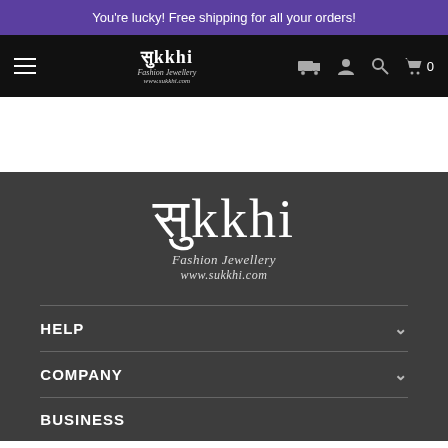You're lucky! Free shipping for all your orders!
[Figure (logo): Sukkhi Fashion Jewellery navigation bar with hamburger menu, logo, truck icon, user icon, search icon, and cart with 0 items]
[Figure (logo): Large Sukkhi Fashion Jewellery logo with Devanagari script text and www.sukkhi.com URL in white on dark grey background]
HELP
COMPANY
BUSINESS